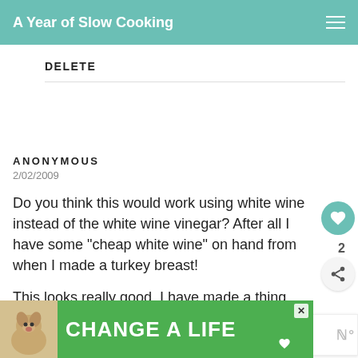A Year of Slow Cooking
DELETE
ANONYMOUS
2/02/2009

Do you think this would work using white wine instead of the white wine vinegar? After all I have some "cheap white wine" on hand from when I made a turkey breast!

This looks really good. I have made a thing with chicken and it also had a pepper flakes in it.
[Figure (other): CHANGE A LIFE advertisement banner with a dog photo]
WHAT'S NEXT → CrockPot Peanut Butt...